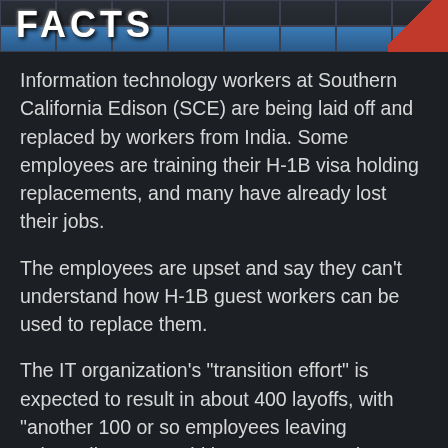[Figure (screenshot): Dark header banner with grid background, large bold white text (partially visible), and red corner accent]
Information technology workers at Southern California Edison (SCE) are being laid off and replaced by workers from India. Some employees are training their H-1B visa holding replacements, and many have already lost their jobs.
The employees are upset and say they can't understand how H-1B guest workers can be used to replace them.
The IT organization's "transition effort" is expected to result in about 400 layoffs, with "another 100 or so employees leaving voluntarily," SCE said in a statement. The "transition," which began in August, will be completed by the end of March, the company said.
"They are bringing in people with a couple of years'